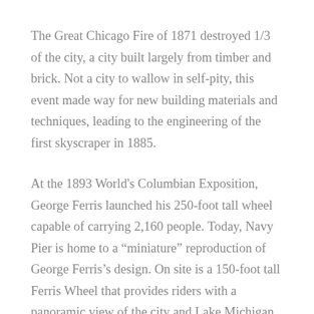The Great Chicago Fire of 1871 destroyed 1/3 of the city, a city built largely from timber and brick. Not a city to wallow in self-pity, this event made way for new building materials and techniques, leading to the engineering of the first skyscraper in 1885.
At the 1893 World's Columbian Exposition, George Ferris launched his 250-foot tall wheel capable of carrying 2,160 people. Today, Navy Pier is home to a “miniature” reproduction of George Ferris’s design. On site is a 150-foot tall Ferris Wheel that provides riders with a panoramic view of the city and Lake Michigan.
A Melting Pot Fact. The ethnicity of the city is broken into rough thirds of Caucasians, African Americans,